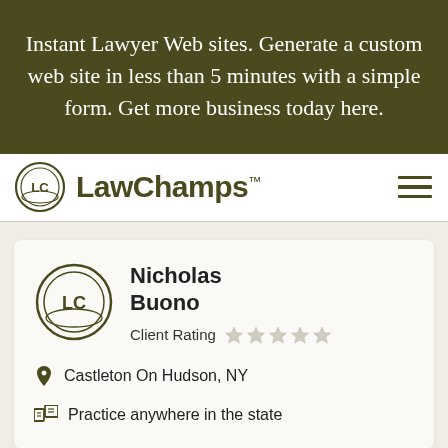Instant Lawyer Web sites. Generate a custom web site in less than 5 minutes with a simple form. Get more business today here.
[Figure (logo): LawChamps logo with LC circular icon and LawChamps wordmark]
Nicholas Buono
Client Rating (5 stars, all empty)
Castleton On Hudson, NY
Practice anywhere in the state